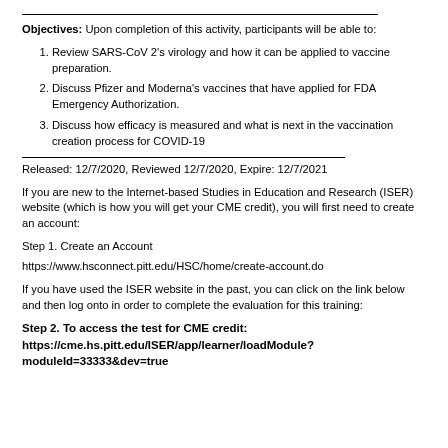Objectives: Upon completion of this activity, participants will be able to:
Review SARS-CoV 2's virology and how it can be applied to vaccine preparation.
Discuss Pfizer and Moderna's vaccines that have applied for FDA Emergency Authorization.
Discuss how efficacy is measured and what is next in the vaccination creation process for COVID-19
Released:  12/7/2020, Reviewed 12/7/2020, Expire: 12/7/2021
If you are new to the Internet-based Studies in Education and Research (ISER) website (which is how you will get your CME credit), you will first need to create an account:
Step 1. Create an Account
https://www.hsconnect.pitt.edu/HSC/home/create-account.do
If you have used the ISER website in the past, you can click on the link below and then log onto in order to complete the evaluation for this training:
Step 2. To access the test for CME credit:
https://cme.hs.pitt.edu/ISER/app/learner/loadModule?
moduleId=33333&dev=true